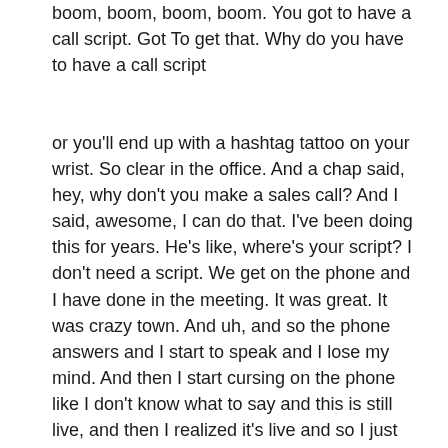boom, boom, boom, boom. You got to have a call script. Got To get that. Why do you have to have a call script
or you'll end up with a hashtag tattoo on your wrist. So clear in the office. And a chap said, hey, why don't you make a sales call? And I said, awesome, I can do that. I've been doing this for years. He's like, where's your script? I don't need a script. We get on the phone and I have done in the meeting. It was great. It was crazy town. And uh, and so the phone answers and I start to speak and I lose my mind. And then I start cursing on the phone like I don't know what to say and this is still live, and then I realized it's live and so I just hang up and we all lose our mind doing. And then, uh, you know, he brings Marshall into Sharon this awesomeness. And Marshall said, why didn't you just hit the pound sign? I guess that stops the call or does something voicemail you and on a mail I'll let you should never do. And so now I have an awesome hashtag tattoo on my wrist. It's a reminder of that. I never want to forget that
...you never want to miss a beat on a script. Then the script...